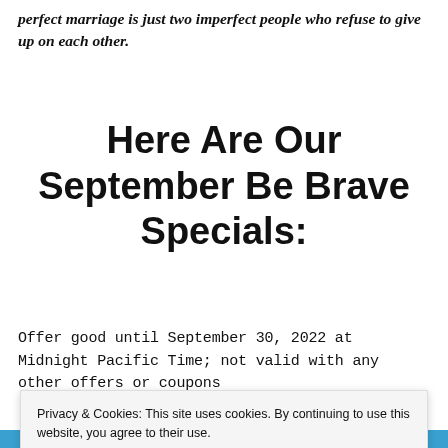perfect marriage is just two imperfect people who refuse to give up on each other.
Here Are Our September Be Brave Specials:
Offer good until September 30, 2022 at Midnight Pacific Time; not valid with any other offers or coupons
0629_2020 How Can Plasma Energy
Privacy & Cookies: This site uses cookies. By continuing to use this website, you agree to their use. To find out more, including how to control cookies, see here: Cookie Policy
Close and accept